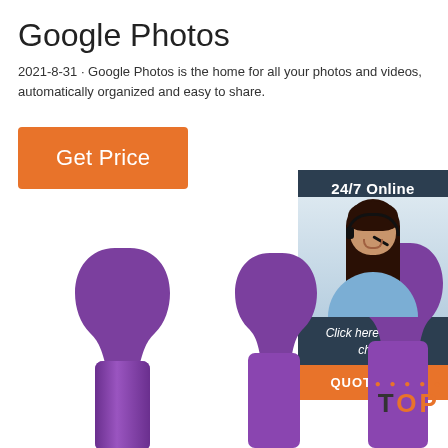Google Photos
2021-8-31 · Google Photos is the home for all your photos and videos, automatically organized and easy to share.
[Figure (infographic): Orange 'Get Price' button on left; sidebar on right with dark teal background showing '24/7 Online' text, a woman with headset customer service photo, 'Click here for free chat!' text, and orange 'QUOTATION' button]
[Figure (photo): Three purple ergonomic product shapes (vibrators/massagers) side by side at bottom of page, partially cut off. An orange 'TOP' badge with dots is visible in bottom right area.]